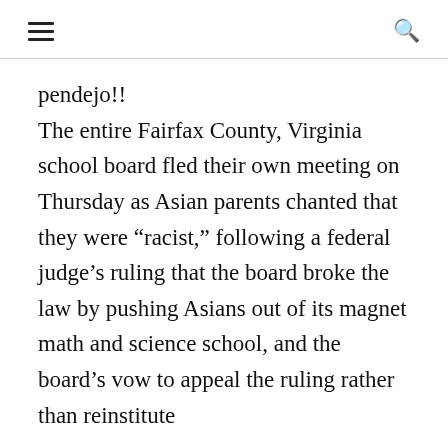[hamburger menu] [search icon]
pendejo!! The entire Fairfax County, Virginia school board fled their own meeting on Thursday as Asian parents chanted that they were “racist,” following a federal judge’s ruling that the board broke the law by pushing Asians out of its magnet math and science school, and the board’s vow to appeal the ruling rather than reinstitute